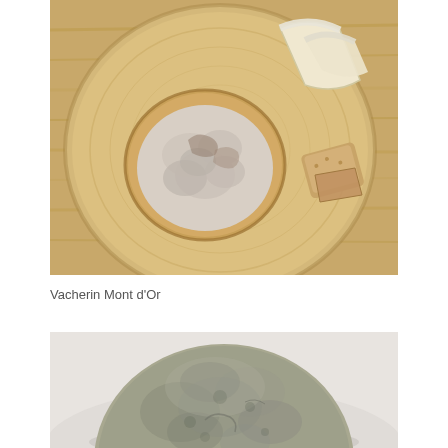[Figure (photo): Overhead view of a wooden cheese board with a round wooden box containing Vacherin Mont d'Or soft cheese, slices of the cheese, and pieces of bread/crackers, all on a warm wooden table surface.]
Vacherin Mont d'Or
[Figure (photo): Close-up of a large round wheel of aged cheese with grey-green mottled rind, shot against a light grey background.]